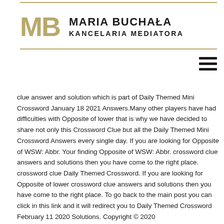MB MARIA BUCHAŁA KANCELARIA MEDIATORA
[Figure (other): Hamburger menu icon (three horizontal lines)]
clue answer and solution which is part of Daily Themed Mini Crossword January 18 2021 Answers.Many other players have had difficulties with Opposite of lower that is why we have decided to share not only this Crossword Clue but all the Daily Themed Mini Crossword Answers every single day. If you are looking for Opposite of WSW: Abbr. Your finding Opposite of WSW: Abbr. crossword clue answers and solutions then you have come to the right place. crossword clue Daily Themed Crossword. If you are looking for Opposite of lower crossword clue answers and solutions then you have come to the right place. To go back to the main post you can click in this link and it will redirect you to Daily Themed Crossword February 11 2020 Solutions. Copyright © 2020 DailyThemedCrosswordAnswers.com.We are in no way affiliated or endorsed by PlaySimple Games. This website is for informational purposes only. Please find below the Opposite of WSW: Abbr. Learn